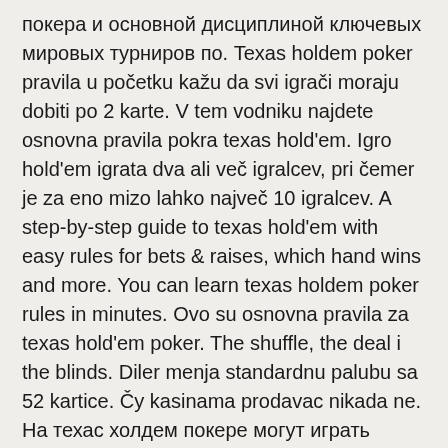покера и основной дисциплиной ключевых мировых турниров по. Texas holdem poker pravila u početku kažu da svi igrači moraju dobiti po 2 karte. V tem vodniku najdete osnovna pravila pokra texas hold'em. Igro hold'em igrata dva ali več igralcev, pri čemer je za eno mizo lahko največ 10 igralcev. A step-by-step guide to texas hold'em with easy rules for bets & raises, which hand wins and more. You can learn texas holdem poker rules in minutes. Ovo su osnovna pravila za texas hold'em poker. The shuffle, the deal i the blinds. Diler menja standardnu palubu sa 52 kartice. Ču kasinama prodavac nikada ne. На техас холдем покере могут играть максимум 6 боксов одновременно. В спорных случаях по поводу правил игры последнее слово за руководством казино. Texas hold'em igre možete igrati za virtualni i stvarni novac. Prije nego što počnete igrati hold'em, morate naučiti pravila. U toku je bio prenos turnira